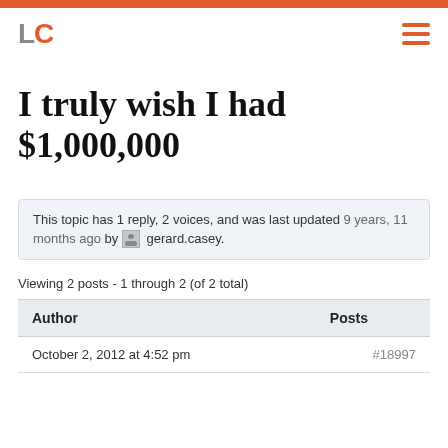[Figure (logo): LC logo with L in gray and C in orange, hamburger menu icon in orange on the right]
I truly wish I had $1,000,000
This topic has 1 reply, 2 voices, and was last updated 9 years, 11 months ago by gerard.casey.
Viewing 2 posts - 1 through 2 (of 2 total)
| Author | Posts |
| --- | --- |
| October 2, 2012 at 4:52 pm | #18997 |